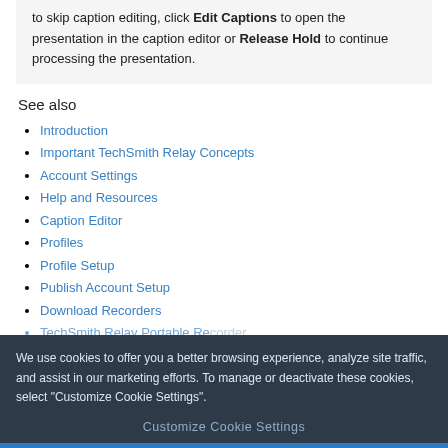to skip caption editing, click Edit Captions to open the presentation in the caption editor or Release Hold to continue processing the presentation.
See also
Introduction
Important TechSmith Relay Concepts
Account Settings
Help and Resources
Caption Editor
Profiles
Profile Setup
Publish Account Setup
Download Recorders
TechSmith Relay Portable Recorder
We use cookies to offer you a better browsing experience, analyze site traffic, and assist in our marketing efforts. To manage or deactivate these cookies, select "Customize Cookie Settings".
Customize Cookie Settings